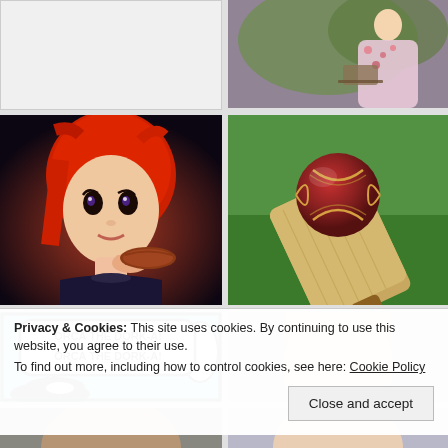[Figure (photo): White/blank image placeholder in top-left grid cell]
[Figure (photo): Woman in floral dress sitting outdoors under a tree]
[Figure (illustration): 3D rendered anime-style character with red hair eating a sausage]
[Figure (photo): Red cricket ball resting on a cricket bat on green grass]
[Figure (illustration): Comic strip panel with speech bubble: ORCA THE DORK-A! ORCA THE DORK-A!]
[Figure (photo): Partial photo of a bald child's head]
[Figure (photo): Partial photo at bottom left]
[Figure (photo): Partial photo at bottom right]
Privacy & Cookies: This site uses cookies. By continuing to use this website, you agree to their use.
To find out more, including how to control cookies, see here: Cookie Policy
Close and accept